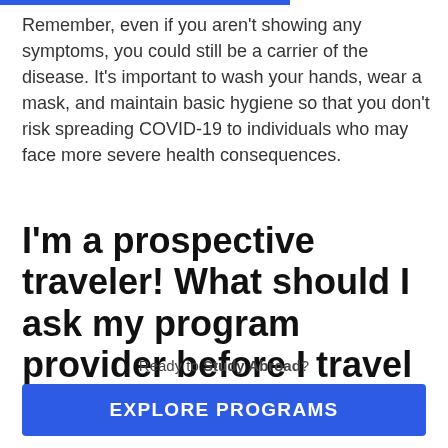Remember, even if you aren't showing any symptoms, you could still be a carrier of the disease. It's important to wash your hands, wear a mask, and maintain basic hygiene so that you don't risk spreading COVID-19 to individuals who may face more severe health consequences.
I'm a prospective traveler! What should I ask my program provider before I travel abroad?
Ready to Study Abroad?
EXPLORE PROGRAMS